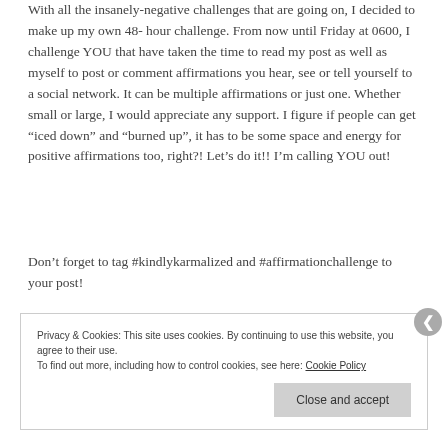With all the insanely-negative challenges that are going on, I decided to make up my own 48-hour challenge. From now until Friday at 0600, I challenge YOU that have taken the time to read my post as well as myself to post or comment affirmations you hear, see or tell yourself to a social network. It can be multiple affirmations or just one. Whether small or large, I would appreciate any support. I figure if people can get “iced down” and “burned up”, it has to be some space and energy for positive affirmations too, right?! Let’s do it!! I’m calling YOU out!
Don’t forget to tag #kindlykarmalized and #affirmationchallenge to your post!
Privacy & Cookies: This site uses cookies. By continuing to use this website, you agree to their use. To find out more, including how to control cookies, see here: Cookie Policy